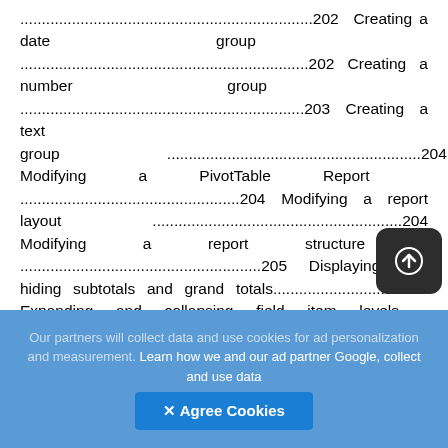....................................................................202 Creating a date group ...................................................................202 Creating a number group ..................................................................203 Creating a text group ........................................................................204 Modifying a PivotTable Report .......................................................204 Modifying a report layout ...................................................................204 Modifying a report structure ..............................................................205 Displaying and hiding subtotals and grand totals..............................205 Expanding and collapsing field item levels .......................................206 Refreshing a PivotTable Report .......................................................206
Glossary: Tech Talk...........................................207 Index